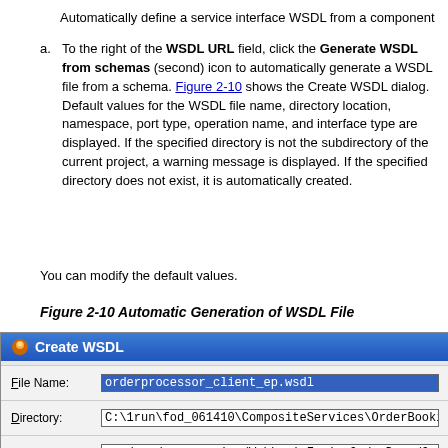Automatically define a service interface WSDL from a component
a. To the right of the WSDL URL field, click the Generate WSDL from schemas (second) icon to automatically generate a WSDL file from a schema. Figure 2-10 shows the Create WSDL dialog. Default values for the WSDL file name, directory location, namespace, port type, operation name, and interface type are displayed. If the specified directory is not the subdirectory of the current project, a warning message is displayed. If the specified directory does not exist, it is automatically created.
You can modify the default values.
Figure 2-10 Automatic Generation of WSDL File
[Figure (screenshot): Create WSDL dialog showing fields: File Name (orderprocessor_client_ep.wsdl), Directory (C:\1run\fod_061410\CompositeServices\OrderBooking...), Namespace (com/sca/soapservice/WebLogicFusionOrderDemo/Orde...), Port Type (execute_ptt)]